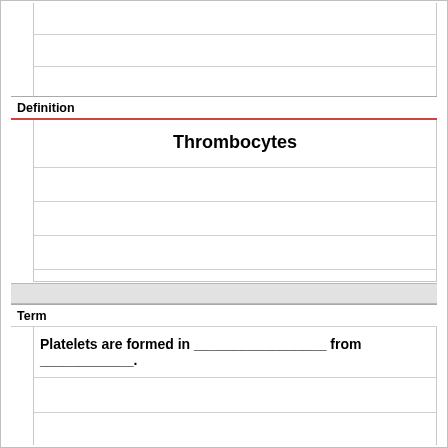Definition
Thrombocytes
Term
Platelets are formed in _____________ from _____________.